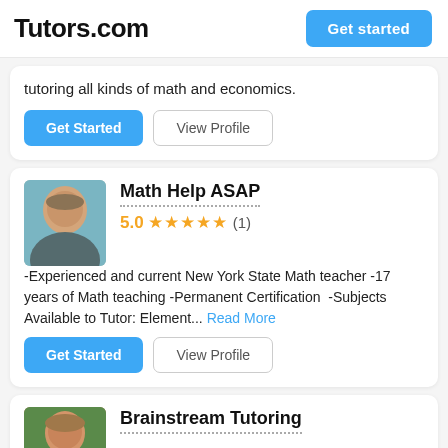Tutors.com
tutoring all kinds of math and economics.
Get Started | View Profile
Math Help ASAP
5.0 ★★★★★ (1)
-Experienced and current New York State Math teacher -17 years of Math teaching -Permanent Certification  -Subjects Available to Tutor: Element... Read More
Get Started | View Profile
Brainstream Tutoring
Though there are other competitors in the